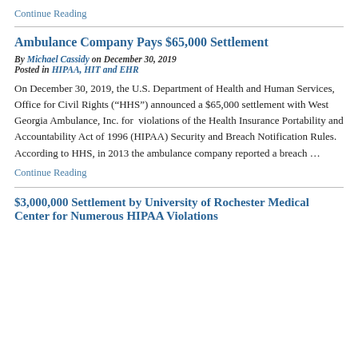Continue Reading
Ambulance Company Pays $65,000 Settlement
By Michael Cassidy on December 30, 2019
Posted in HIPAA, HIT and EHR
On December 30, 2019, the U.S. Department of Health and Human Services, Office for Civil Rights (“HHS”) announced a $65,000 settlement with West Georgia Ambulance, Inc. for violations of the Health Insurance Portability and Accountability Act of 1996 (HIPAA) Security and Breach Notification Rules. According to HHS, in 2013 the ambulance company reported a breach …
Continue Reading
$3,000,000 Settlement by University of Rochester Medical Center for Numerous HIPAA Violations